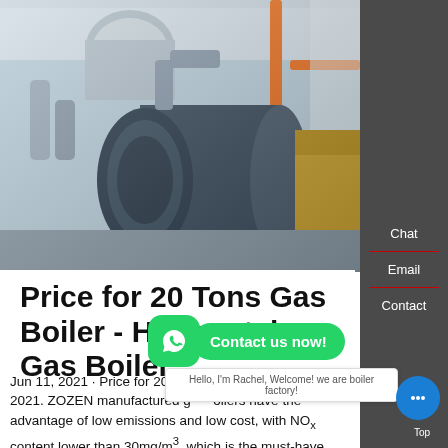[Figure (photo): Industrial boiler room with large horizontal gas boilers, insulated silver pipes, orange pipes, and blue industrial equipment in a factory setting.]
Price for 20 Tons Gas Boiler - Horizontal Gas Boiler
Jun 11, 2021 · Price for 20 Tons Gas Boiler. June 11, 2021. ZOZEN manufactured gas boilers have the advantage of low emissions and low cost, with NOx content lower than 30mg/m³, which is the must-have heating equipment... tons gas boiler has a rated evaporation capacity of 20